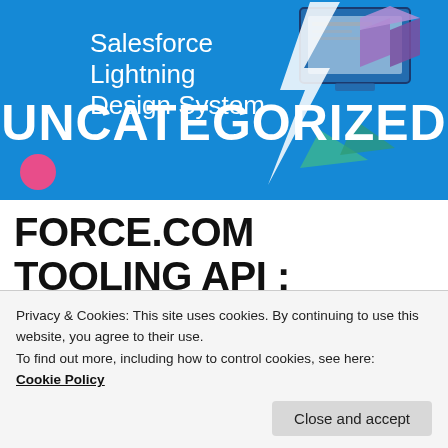[Figure (illustration): Salesforce Lightning Design System banner with blue background, lightning bolt graphic, monitor icon, geometric shapes, and 'UNCATEGORIZED' overlay text]
FORCE.COM TOOLING API : CREATE APEX CLASS, APEX TRIGGER DYNAMICALLY AND UPDATE/DELETE APEX REST API
Privacy & Cookies: This site uses cookies. By continuing to use this website, you agree to their use.
To find out more, including how to control cookies, see here:
Cookie Policy
Close and accept